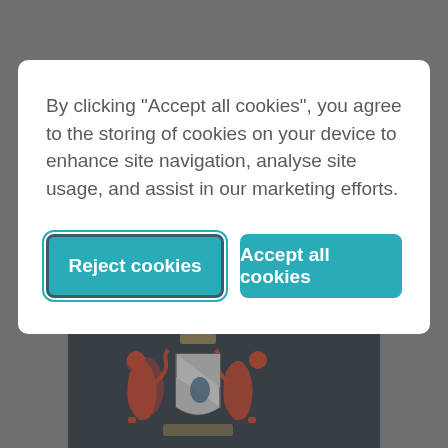[Figure (screenshot): Background webpage showing a teal 'Sign up for updates' button and a dark heraldic coat of arms image below, partially obscured by a cookie consent modal overlay.]
By clicking “Accept all cookies”, you agree to the storing of cookies on your device to enhance site navigation, analyse site usage, and assist in our marketing efforts.
Reject cookies
Accept all cookies